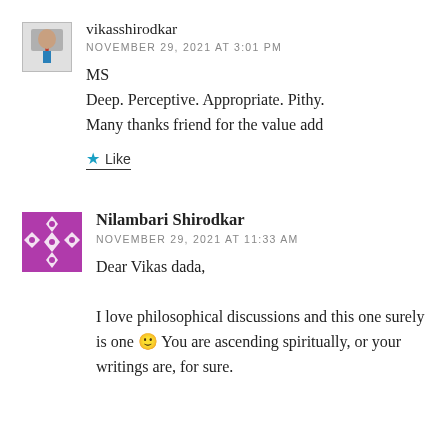vikasshirodkar
NOVEMBER 29, 2021 AT 3:01 PM
MS
Deep. Perceptive. Appropriate. Pithy.
Many thanks friend for the value add
★ Like
Nilambari Shirodkar
NOVEMBER 29, 2021 AT 11:33 AM
Dear Vikas dada,

I love philosophical discussions and this one surely is one 🙂 You are ascending spiritually, or your writings are, for sure.